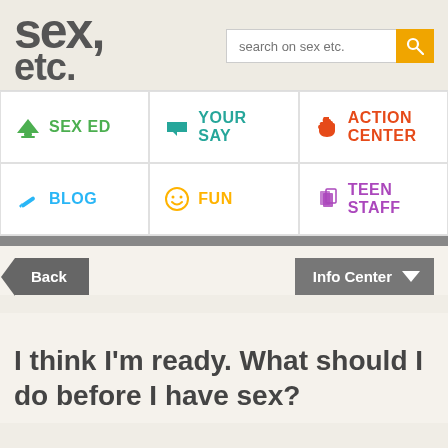[Figure (logo): sex, etc. website logo in grey bold text with a search bar and orange search button]
[Figure (infographic): Navigation grid with 6 cells: SEX ED (green graduation cap), YOUR SAY (teal megaphone), ACTION CENTER (orange fist), BLOG (blue pencil), FUN (yellow smiley face), TEEN STAFF (purple papers)]
[Figure (screenshot): Back button (dark grey arrow left) and Info Center button (dark grey with dropdown triangle)]
I think I'm ready. What should I do before I have sex?